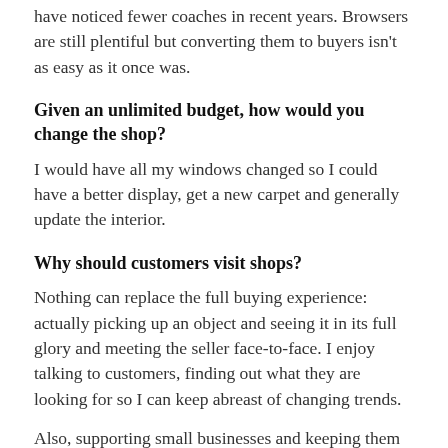have noticed fewer coaches in recent years. Browsers are still plentiful but converting them to buyers isn't as easy as it once was.
Given an unlimited budget, how would you change the shop?
I would have all my windows changed so I could have a better display, get a new carpet and generally update the interior.
Why should customers visit shops?
Nothing can replace the full buying experience: actually picking up an object and seeing it in its full glory and meeting the seller face-to-face. I enjoy talking to customers, finding out what they are looking for so I can keep abreast of changing trends.
Also, supporting small businesses and keeping them going is important in continuing the life of a small town like Petworth.